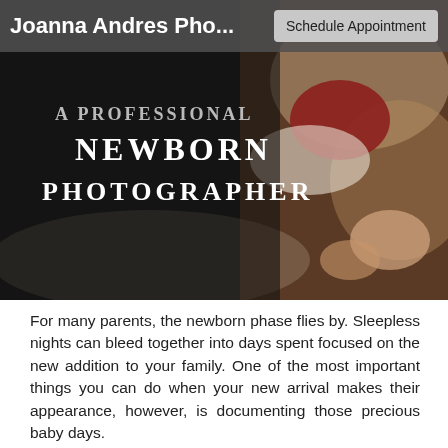Joanna Andres Pho...   Schedule Appointment
[Figure (photo): Banner photograph showing a newborn baby with text overlay reading 'A PROFESSIONAL NEWBORN PHOTOGRAPHER' on a dark background, with a baby dressed in red and white lace visible on the right side.]
For many parents, the newborn phase flies by. Sleepless nights can bleed together into days spent focused on the new addition to your family. One of the most important things you can do when your new arrival makes their appearance, however, is documenting those precious baby days.
You'll want to be able to look back on these days with a smile later—and a professional newborn photographer can help produce the kinds of images that you and your family will enjoy for a